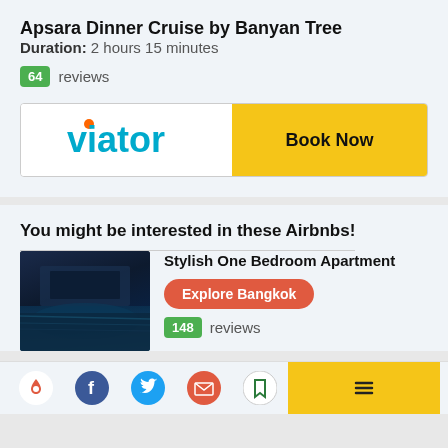Apsara Dinner Cruise by Banyan Tree
Duration: 2 hours 15 minutes
64 reviews
[Figure (logo): Viator logo with Book Now yellow button]
You might be interested in these Airbnbs!
[Figure (photo): Luxury apartment interior with pool reflection at night]
Stylish One Bedroom Apartment
Explore Bangkok
148 reviews
[Figure (infographic): Row of social sharing icons: Airbnb, Facebook, Twitter, Email, Bookmark, and yellow button]